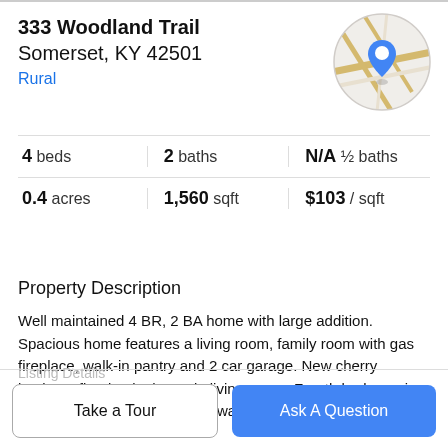333 Woodland Trail
Somerset, KY 42501
Rural
[Figure (map): Circular map thumbnail showing street map with a blue location pin marker]
| 4 beds | 2 baths | N/A ½ baths |
| 0.4 acres | 1,560 sqft | $103 / sqft |
Property Description
Well maintained 4 BR, 2 BA home with large addition. Spacious home features a living room, family room with gas fireplace, walk-in pantry and 2 car garage. New cherry laminate flooring in the main living areas. Fourth bedroom is wired for a home office with a walk-in closet.
Take a Tour
Ask A Question